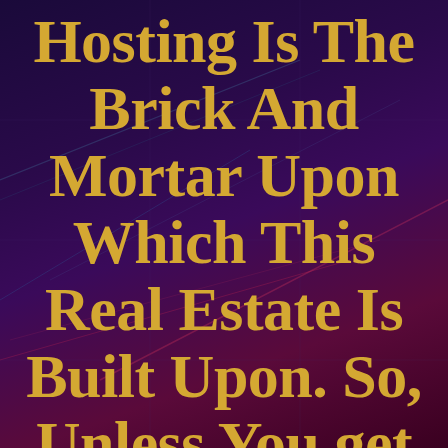Hosting Is The Brick And Mortar Upon Which This Real Estate Is Built Upon. So, Unless You get Your Web